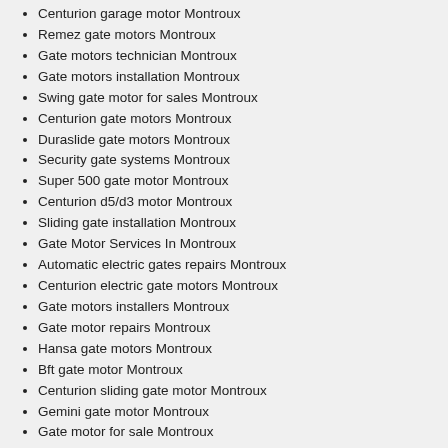Centurion garage motor Montroux
Remez gate motors Montroux
Gate motors technician Montroux
Gate motors installation Montroux
Swing gate motor for sales Montroux
Centurion gate motors Montroux
Duraslide gate motors Montroux
Security gate systems Montroux
Super 500 gate motor Montroux
Centurion d5/d3 motor Montroux
Sliding gate installation Montroux
Gate Motor Services In Montroux
Automatic electric gates repairs Montroux
Centurion electric gate motors Montroux
Gate motors installers Montroux
Gate motor repairs Montroux
Hansa gate motors Montroux
Bft gate motor Montroux
Centurion sliding gate motor Montroux
Gemini gate motor Montroux
Gate motor for sale Montroux
You can only expect nothing but the best services from them
Reaching our customer contact centre should give you comfort as you will be minutes away from your ideal centurion electric gate motors company contacting you